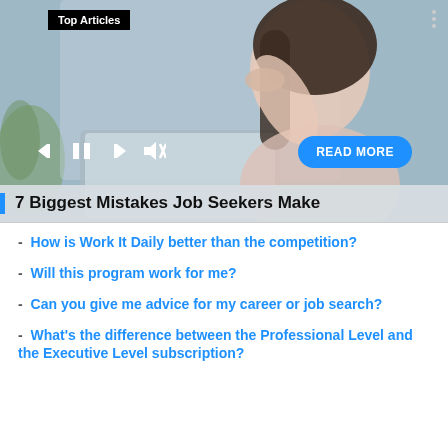[Figure (screenshot): Woman looking stressed at a laptop, with media playback controls and a READ MORE button overlay. 'Top Articles' badge in top left corner.]
7 Biggest Mistakes Job Seekers Make
- How is Work It Daily better than the competition?
- Will this program work for me?
- Can you give me advice for my career or job search?
- What's the difference between the Professional Level and the Executive Level subscription?